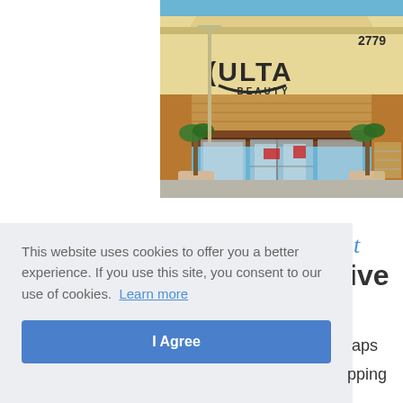[Figure (photo): Exterior photo of an Ulta Beauty store with number 2779, showing the storefront with the Ulta Beauty logo on a tan/yellow building facade, palm trees in planters, and glass entrance doors.]
t
ive
This website uses cookies to offer you a better experience. If you use this site, you consent to our use of cookies. Learn more
aps
pping
I Agree